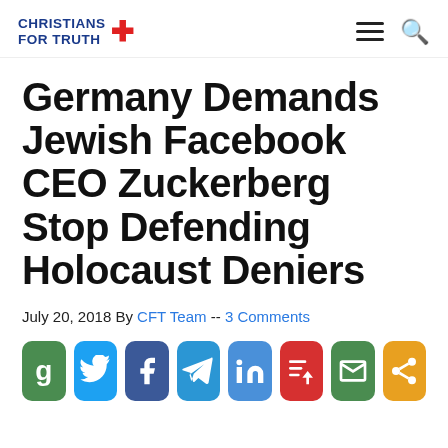Christians For Truth
Germany Demands Jewish Facebook CEO Zuckerberg Stop Defending Holocaust Deniers
July 20, 2018 By CFT Team -- 3 Comments
[Figure (infographic): Row of 8 social share buttons: Gab (green), Twitter (blue), Facebook (dark blue), Telegram (light blue), LinkedIn (blue), Parler (red), Email (green), Share (orange)]